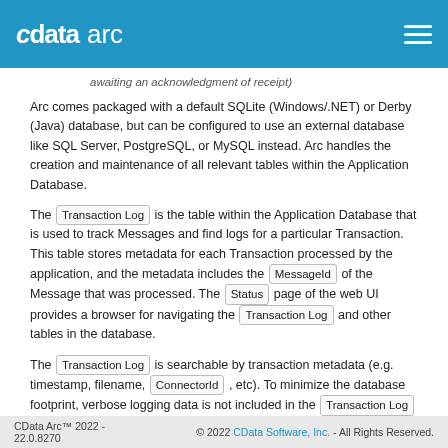cdata arc
awaiting an acknowledgment of receipt)
Arc comes packaged with a default SQLite (Windows/.NET) or Derby (Java) database, but can be configured to use an external database like SQL Server, PostgreSQL, or MySQL instead. Arc handles the creation and maintenance of all relevant tables within the Application Database.
The Transaction Log is the table within the Application Database that is used to track Messages and find logs for a particular Transaction. This table stores metadata for each Transaction processed by the application, and the metadata includes the MessageId of the Message that was processed. The Status page of the web UI provides a browser for navigating the Transaction Log and other tables in the database.
The Transaction Log is searchable by transaction metadata (e.g. timestamp, filename, ConnectorId , etc). To minimize the database footprint, verbose logging data is not included in the Transaction Log and is instead stored in log files on disk.
CData Arc™ 2022 - 22.0.8270    © 2022 CData Software, Inc. - All Rights Reserved.